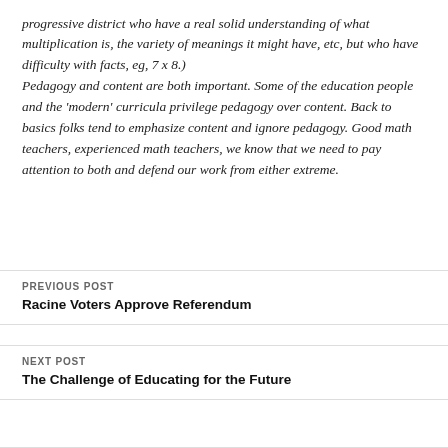progressive district who have a real solid understanding of what multiplication is, the variety of meanings it might have, etc, but who have difficulty with facts, eg, 7 x 8.) Pedagogy and content are both important. Some of the education people and the 'modern' curricula privilege pedagogy over content. Back to basics folks tend to emphasize content and ignore pedagogy. Good math teachers, experienced math teachers, we know that we need to pay attention to both and defend our work from either extreme.
PREVIOUS POST
Racine Voters Approve Referendum
NEXT POST
The Challenge of Educating for the Future